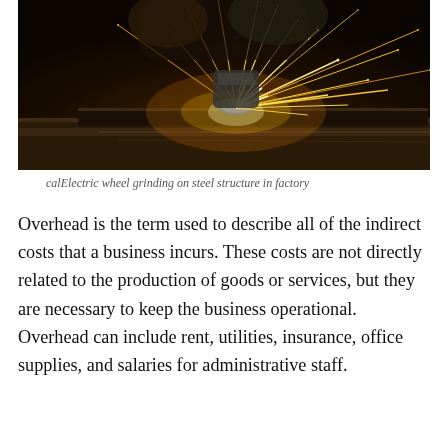[Figure (photo): A worker using an electric angle grinder on a steel structure in a factory, with bright sparks flying. Close-up shot with dark warm tones and dramatic sparks of light.]
calElectric wheel grinding on steel structure in factory
Overhead is the term used to describe all of the indirect costs that a business incurs. These costs are not directly related to the production of goods or services, but they are necessary to keep the business operational. Overhead can include rent, utilities, insurance, office supplies, and salaries for administrative staff.